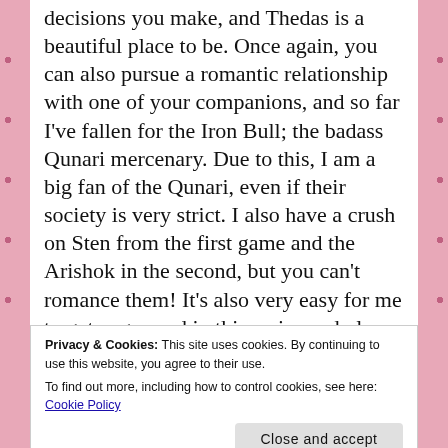decisions you make, and Thedas is a beautiful place to be. Once again, you can also pursue a romantic relationship with one of your companions, and so far I've fallen for the Iron Bull; the badass Qunari mercenary. Due to this, I am a big fan of the Qunari, even if their society is very strict. I also have a crush on Sten from the first game and the Arishok in the second, but you can't romance them! It's also very easy for me to get engrossed in this series and play for hours. Sometimes after I finish one of the games, I'm already planning a
Privacy & Cookies: This site uses cookies. By continuing to use this website, you agree to their use.
To find out more, including how to control cookies, see here: Cookie Policy
Close and accept
Orlais, it's such an elegant place. I didn't think I